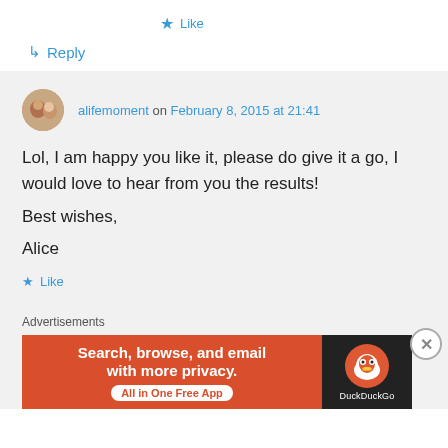★ Like
↳ Reply
alifemoment on February 8, 2015 at 21:41
Lol, I am happy you like it, please do give it a go, I would love to hear from you the results!
Best wishes,
Alice
★ Like
Advertisements
[Figure (illustration): DuckDuckGo advertisement banner: orange left panel with text 'Search, browse, and email with more privacy. All in One Free App' and dark right panel with DuckDuckGo duck logo and brand name.]